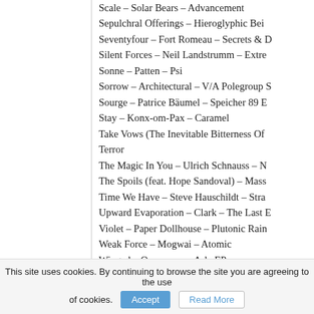Scale – Solar Bears – Advancement
Sepulchral Offerings – Hieroglyphic Bei...
Seventyfour – Fort Romeau – Secrets & D...
Silent Forces – Neil Landstrumm – Extre...
Sonne – Patten – Psi
Sorrow – Architectural – V/A Polegroup ...
Sourge – Patrice Bäumel – Speicher 89 E...
Stay – Konx-om-Pax – Caramel
Take Vows (The Inevitable Bitterness Of...
Terror
The Magic In You – Ulrich Schnauss – N...
The Spoils (feat. Hope Sandoval) – Mass...
Time We Have – Steve Hauschildt – Stra...
Upward Evaporation – Clark – The Last E...
Violet – Paper Dollhouse – Plutonic Rain...
Weak Force – Mogwai – Atomic
Winged – Overmono – Arla EP
Woods – Black Marble – It's Immaterial
This site uses cookies. By continuing to browse the site you are agreeing to the use of cookies.